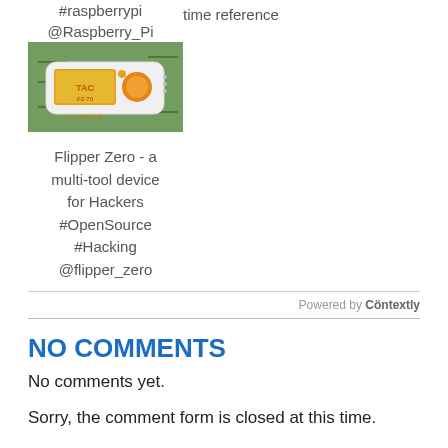#raspberrypi @Raspberry_Pi
time reference
[Figure (photo): Flipper Zero device - a small white handheld multi-tool gadget with an orange circular button and orange screen, placed on a green circuit board background]
Flipper Zero - a multi-tool device for Hackers #OpenSource #Hacking @flipper_zero
Powered by Contextly
NO COMMENTS
No comments yet.
Sorry, the comment form is closed at this time.